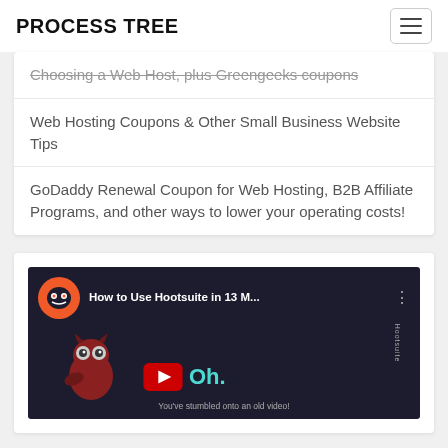PROCESS TREE
Choosing a Web Host, plus Greengeeks coupons
Web Hosting Coupons & Other Small Business Website Tips
GoDaddy Renewal Coupon for Web Hosting, B2B Affiliate Programs, and other ways to lower your operating costs!
[Figure (screenshot): YouTube video thumbnail for 'How to Use Hootsuite in 13 M...' with Hootsuite owl logo, a cartoon owl character, YouTube play button, and text 'Oh.' with subtitle 'You've stumbled onto an old video!']